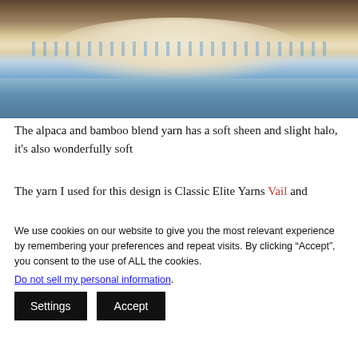[Figure (photo): Close-up photo of a person wearing a blue and cream Fair Isle knitted sweater with a snowflake/floral yoke pattern, photographed indoors with warm background lighting]
The alpaca and bamboo blend yarn has a soft sheen and slight halo, it's also wonderfully soft
The yarn I used for this design is Classic Elite Yarns Vail and
We use cookies on our website to give you the most relevant experience by remembering your preferences and repeat visits. By clicking "Accept", you consent to the use of ALL the cookies.
Do not sell my personal information.